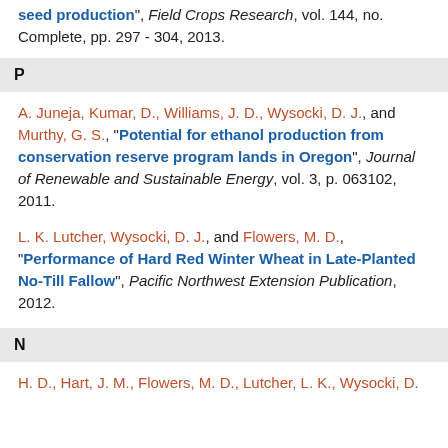seed production", Field Crops Research, vol. 144, no. Complete, pp. 297 - 304, 2013.
P
A. Juneja, Kumar, D., Williams, J. D., Wysocki, D. J., and Murthy, G. S., "Potential for ethanol production from conservation reserve program lands in Oregon", Journal of Renewable and Sustainable Energy, vol. 3, p. 063102, 2011.
L. K. Lutcher, Wysocki, D. J., and Flowers, M. D., "Performance of Hard Red Winter Wheat in Late-Planted No-Till Fallow", Pacific Northwest Extension Publication, 2012.
N
H. D., Hart, J. M., Flowers, M. D., Lutcher, L. K., Wysocki, D.